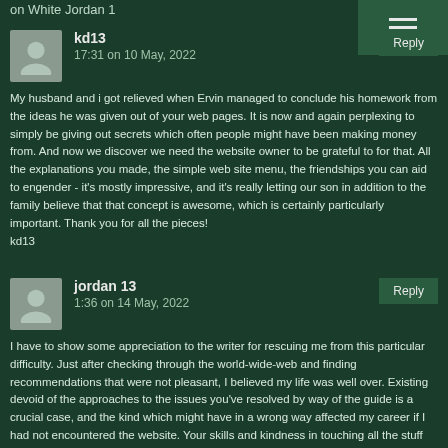on White Jordan 1
kd13
17:31 on 10 May, 2022
My husband and i got relieved when Ervin managed to conclude his homework from the ideas he was given out of your web pages. It is now and again perplexing to simply be giving out secrets which often people might have been making money from. And now we discover we need the website owner to be grateful to for that. All the explanations you made, the simple web site menu, the friendships you can aid to engender - it's mostly impressive, and it's really letting our son in addition to the family believe that that concept is awesome, which is certainly particularly important. Thank you for all the pieces!
kd13
jordan 13
1:36 on 14 May, 2022
I have to show some appreciation to the writer for rescuing me from this particular difficulty. Just after checking through the world-wide-web and finding recommendations that were not pleasant, I believed my life was well over. Existing devoid of the approaches to the issues you've resolved by way of the guide is a crucial case, and the kind which might have in a wrong way affected my career if I had not encountered the website. Your skills and kindness in touching all the stuff was very helpful. I don't know what I would have done if I had